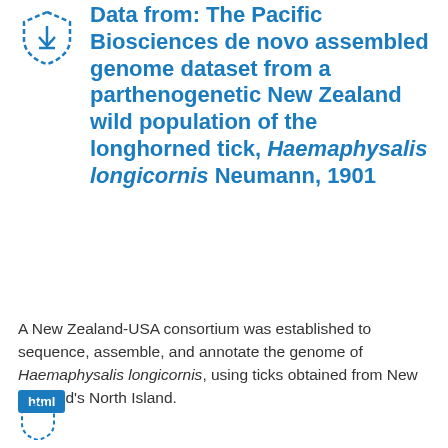[Figure (logo): Shield/badge icon outline with dashed border, top-left corner]
Data from: The Pacific Biosciences de novo assembled genome dataset from a parthenogenetic New Zealand wild population of the longhorned tick, Haemaphysalis longicornis Neumann, 1901
A New Zealand-USA consortium was established to sequence, assemble, and annotate the genome of Haemaphysalis longicornis, using ticks obtained from New Zealand's North Island.
html
[Figure (logo): Small icon at bottom left, partially visible]